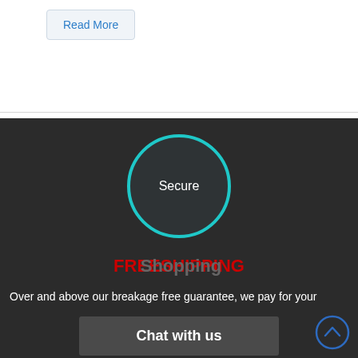Read More
[Figure (illustration): Circular badge with teal border and dark background showing the word 'Secure' in white, with a small broken image icon in the upper left corner of the circle]
FREE SHIPPING (overlaid with 'Shopping')
Over and above our breakage free guarantee, we pay for your
Chat with us